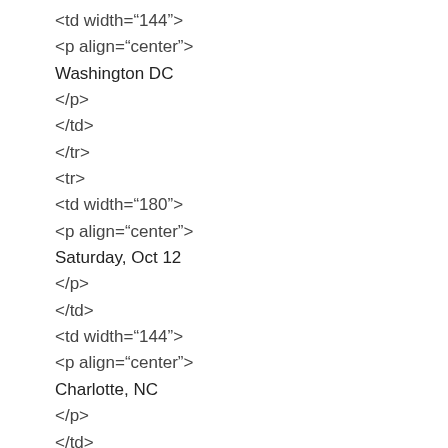<td width="144">
<p align="center">
Washington DC
</p>
</td>
</tr>
<tr>
<td width="180">
<p align="center">
Saturday, Oct 12
</p>
</td>
<td width="144">
<p align="center">
Charlotte, NC
</p>
</td>